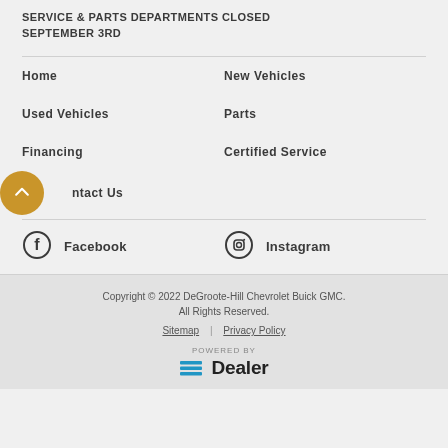SERVICE & PARTS DEPARTMENTS CLOSED SEPTEMBER 3RD
Home
New Vehicles
Used Vehicles
Parts
Financing
Certified Service
Contact Us
[Figure (illustration): Facebook social media icon - dark circle outline with letter f]
Facebook
[Figure (illustration): Instagram social media icon - dark circle outline with camera symbol]
Instagram
Copyright © 2022 DeGroote-Hill Chevrolet Buick GMC. All Rights Reserved. Sitemap | Privacy Policy POWERED BY =Dealer